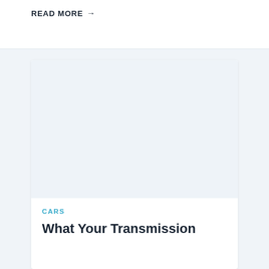READ MORE →
[Figure (photo): Blank/placeholder image area for a cars article]
CARS
What Your Transmission